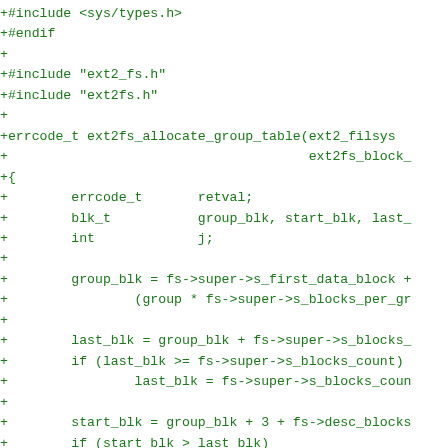Diff/patch code showing additions to a C source file implementing ext2fs_allocate_group_table function